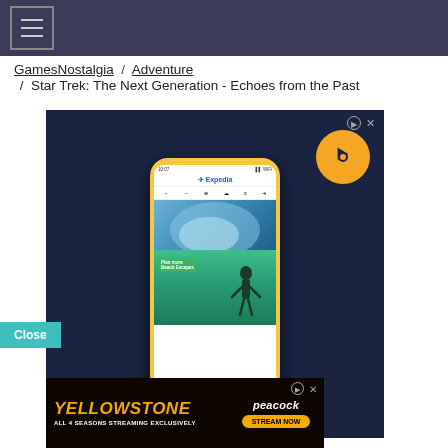Navigation header with hamburger menu
GamesNostalgia / Adventure / Star Trek: The Next Generation - Echoes from the Past
[Figure (screenshot): Expedia travel app advertisement showing a phone mockup with beach escape imagery on a dark navy background, with Expedia logo in a yellow circle top right, and ad disclosure icons]
[Figure (advertisement): Yellowstone All 4 Seasons Streaming Exclusively on Peacock - Stream Now banner ad]
Close